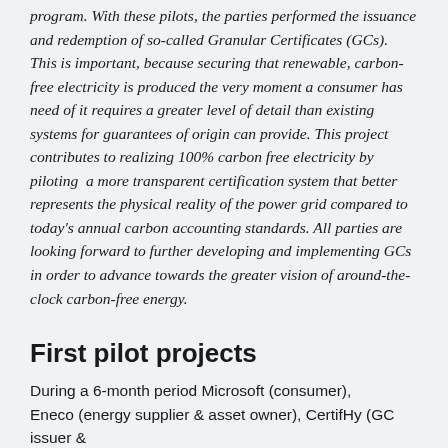program. With these pilots, the parties performed the issuance and redemption of so-called Granular Certificates (GCs). This is important, because securing that renewable, carbon-free electricity is produced the very moment a consumer has need of it requires a greater level of detail than existing systems for guarantees of origin can provide. This project contributes to realizing 100% carbon free electricity by piloting  a more transparent certification system that better represents the physical reality of the power grid compared to today's annual carbon accounting standards. All parties are looking forward to further developing and implementing GCs in order to advance towards the greater vision of around-the-clock carbon-free energy.
First pilot projects
During a 6-month period Microsoft (consumer), Eneco (energy supplier & asset owner), CertifHy (GC issuer &